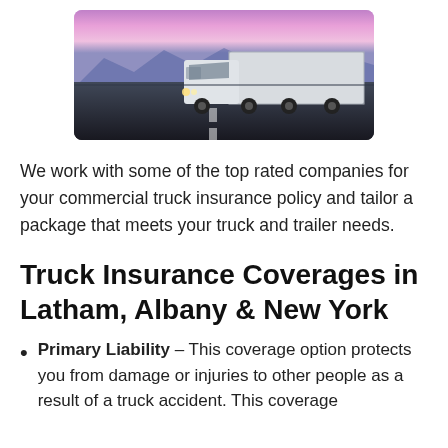[Figure (photo): A white commercial semi-truck driving on a highway road at sunset with a colorful purple-pink sky and mountains in the background.]
We work with some of the top rated companies for your commercial truck insurance policy and tailor a package that meets your truck and trailer needs.
Truck Insurance Coverages in Latham, Albany & New York
Primary Liability – This coverage option protects you from damage or injuries to other people as a result of a truck accident. This coverage